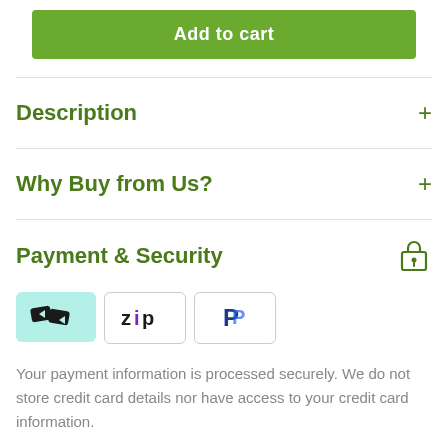Add to cart
Description
Why Buy from Us?
Payment & Security
[Figure (logo): Payment method logos: Afterpay (teal background with chain link icon), Zip (white background with 'zip' text), PayPal (white background with 'P' logo)]
Your payment information is processed securely. We do not store credit card details nor have access to your credit card information.